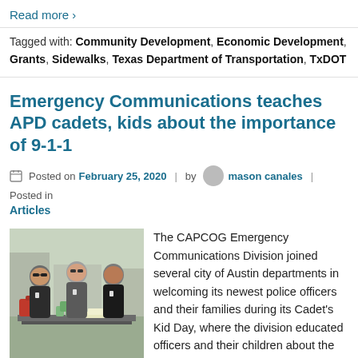Read more ›
Tagged with: Community Development, Economic Development, Grants, Sidewalks, Texas Department of Transportation, TxDOT
Emergency Communications teaches APD cadets, kids about the importance of 9-1-1
Posted on February 25, 2020 | by mason canales | Posted in
Articles
[Figure (photo): Three people standing behind a table outdoors with supplies including red bags and canned beverages]
The CAPCOG Emergency Communications Division joined several city of Austin departments in welcoming its newest police officers and their families during its Cadet's Kid Day, where the division educated officers and their children about the role of emergency